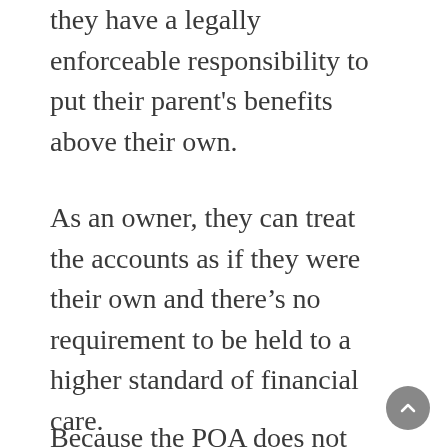they have a legally enforceable responsibility to put their parent's benefits above their own.
As an owner, they can treat the accounts as if they were their own and there's no requirement to be held to a higher standard of financial care.
Because the POA does not create an ownership interest in the account, when the owner dies, the account passes to the surviving joint owners, Payable on Death